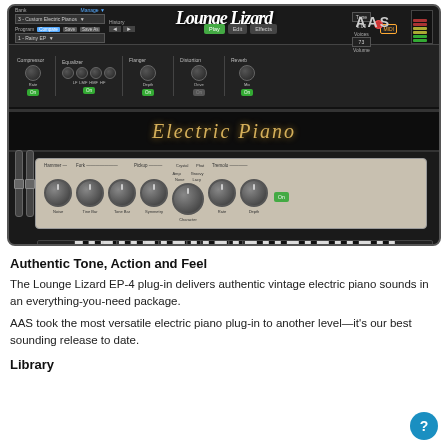[Figure (screenshot): Lounge Lizard EP-4 electric piano plugin interface by AAS, showing controls for Bank, Program, Compressor, Equalizer, Flanger, Distortion, Reverb, and an amp-style panel with knobs for Noise, Tine Bar, Tone Bar, Symmetry, Character, Rate, Depth.]
Authentic Tone, Action and Feel
The Lounge Lizard EP-4 plug-in delivers authentic vintage electric piano sounds in an everything-you-need package.
AAS took the most versatile electric piano plug-in to another level—it's our best sounding release to date.
Library